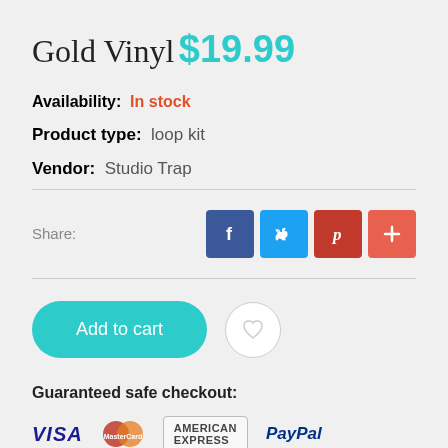Gold Vinyl
$19.99
Availability:  In stock
Product type:  loop kit
Vendor:  Studio Trap
[Figure (other): Social share buttons: Facebook, Twitter, Pinterest, plus (+)]
[Figure (other): Add to cart button and wishlist heart button]
Guaranteed safe checkout:
[Figure (other): Payment logos: VISA, MasterCard, AMERICAN EXPRESS, PayPal]